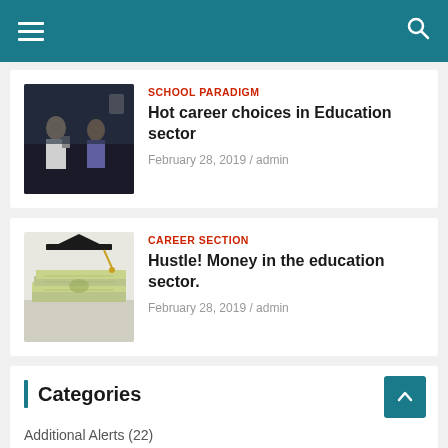Navigation bar with hamburger menu and search icon
[Figure (photo): Two children, one appearing to be a teacher figure, in a dark classroom setting]
SCHOOL PARADIGM
Hot career choices in Education sector
February 28, 2019 / admin
[Figure (photo): Graduation cap placed on top of stacked dollar bills]
CAREER SECTION
Hustle! Money in the education sector.
February 28, 2019 / admin
Categories
Additional Alerts (22)
Career Section (18)
College Section (22)